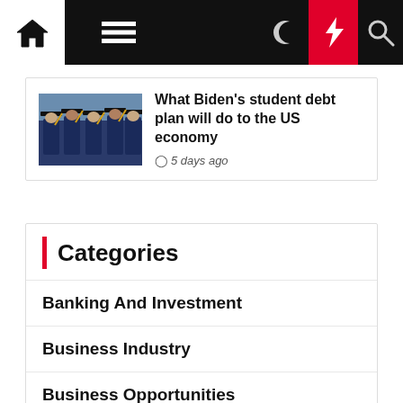Navigation bar with home, menu, moon, lightning, search icons
[Figure (photo): Graduates in blue caps and gowns with yellow tassels]
What Biden's student debt plan will do to the US economy
5 days ago
Categories
Banking And Investment
Business Industry
Business Opportunities
Directory And Resources
Economic
Financial